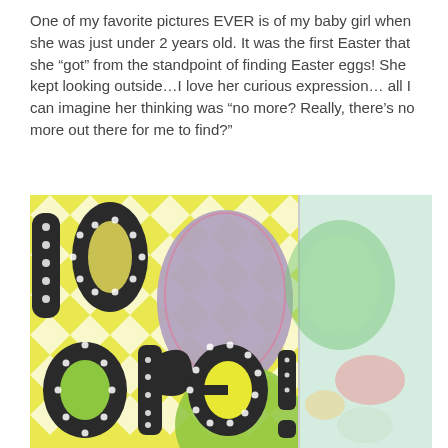One of my favorite pictures EVER is of my baby girl when she was just under 2 years old. It was the first Easter that she “got” from the standpoint of finding Easter eggs! She kept looking outside…I love her curious expression… all I can imagine her thinking was “no more? Really, there’s no more out there for me to find?”
[Figure (photo): Close-up photo of an Easter-themed craft or scrapbook page with large black polka-dot letters spelling partial text ('lo ore!'), colorful Easter egg shapes in pink, blue, and green, a yellow chevron patterned background, and a blurred right panel showing pastel candy/eggs.]